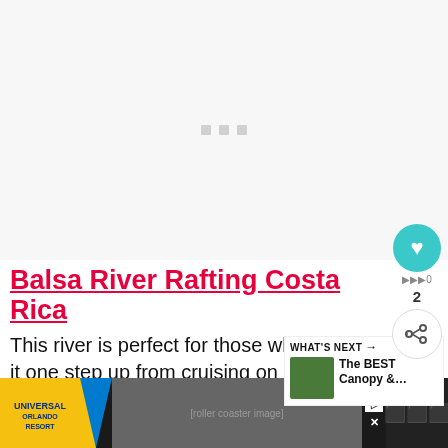[Figure (photo): Large image placeholder area with gray loading dots, top portion of article page]
Balsa River Rafting Costa Rica
This river is perfect for those who w... it one step up from cruising on Peñas Bl...
[Figure (photo): What's Next card - The BEST Canopy & ... with thumbnail of people on canopy tour]
[Figure (photo): Advertisement banner for Universal Orlando Resort showing roller coaster ride]